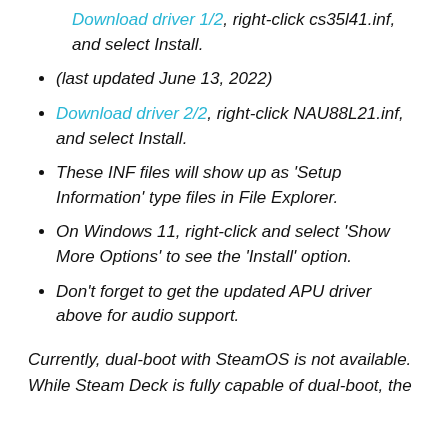Download driver 1/2, right-click cs35l41.inf, and select Install.
(last updated June 13, 2022)
Download driver 2/2, right-click NAU88L21.inf, and select Install.
These INF files will show up as 'Setup Information' type files in File Explorer.
On Windows 11, right-click and select 'Show More Options' to see the 'Install' option.
Don't forget to get the updated APU driver above for audio support.
Currently, dual-boot with SteamOS is not available. While Steam Deck is fully capable of dual-boot, the